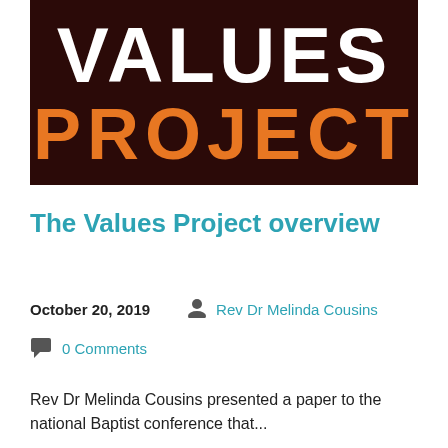[Figure (logo): The Values Project logo — dark brown background with 'VALUES' in white bold uppercase and 'PROJECT' in orange bold uppercase below]
The Values Project overview
October 20, 2019   Rev Dr Melinda Cousins
0 Comments
Rev Dr Melinda Cousins presented a paper to the national Baptist conference that...